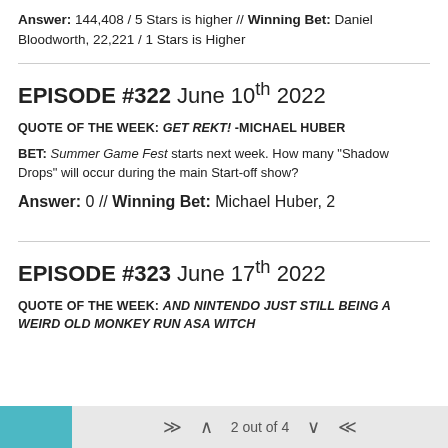Answer: 144,408 / 5 Stars is higher // Winning Bet: Daniel Bloodworth, 22,221 / 1 Stars is Higher
EPISODE #322 June 10th 2022
QUOTE OF THE WEEK: GET REKT! -MICHAEL HUBER
BET: Summer Game Fest starts next week. How many "Shadow Drops" will occur during the main Start-off show?
Answer: 0 // Winning Bet: Michael Huber, 2
EPISODE #323 June 17th 2022
QUOTE OF THE WEEK: AND NINTENDO JUST STILL BEING A WEIRD OLD MONKEY RUN ASA WITCH
2 out of 4